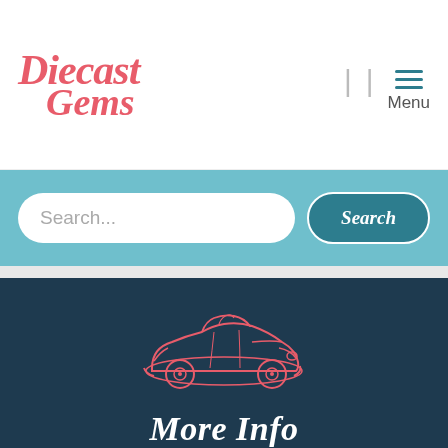Diecast Gems | Menu navigation header
Search...
[Figure (illustration): Red vintage convertible car illustration (line art style)]
More Info
Contact Us
My Account
Delivery Info
Privacy Policy
Cookie Policy